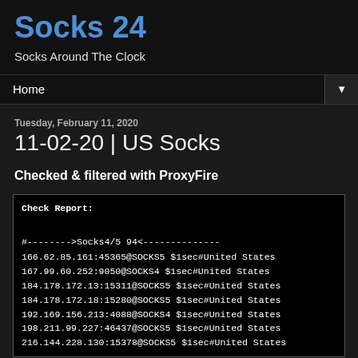Socks 24
Socks Around The Clock
Home ▼
Tuesday, February 11, 2020
11-02-20 | US Socks
Checked & filtered with ProxyFire
Check Report:

#-------->Socks4/5 94<--------------
166.62.85.161:45365@SOCKS5 $1sec#United States
167.99.60.252:9050@SOCKS4 $1sec#United States
184.178.172.13:15311@SOCKS5 $1sec#United States
184.178.172.18:15280@SOCKS5 $1sec#United States
192.169.156.213:4088@SOCKS4 $1sec#United States
198.211.99.227:46437@SOCKS5 $1sec#United States
216.144.228.130:15378@SOCKS5 $1sec#United States